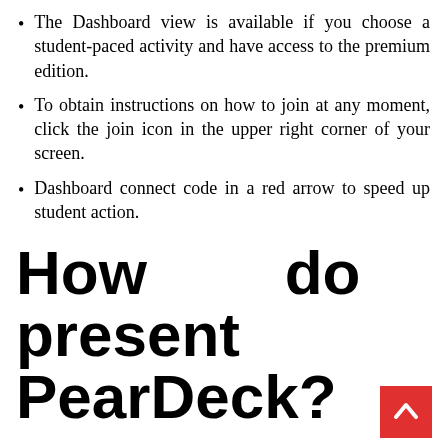The Dashboard view is available if you choose a student-paced activity and have access to the premium edition.
To obtain instructions on how to join at any moment, click the join icon in the upper right corner of your screen.
Dashboard connect code in a red arrow to speed up student action.
How do you present a PearDeck?